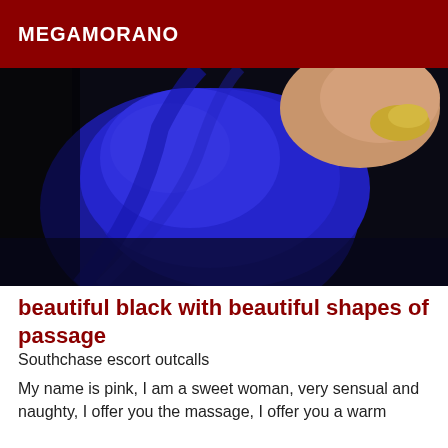MEGAMORANO
[Figure (photo): Close-up photo of a person wearing a blue garment with skin and a yellow/gold accessory visible in the upper right corner. Dark background.]
beautiful black with beautiful shapes of passage
Southchase escort outcalls
My name is pink, I am a sweet woman, very sensual and naughty, I offer you the massage, I offer you a warm